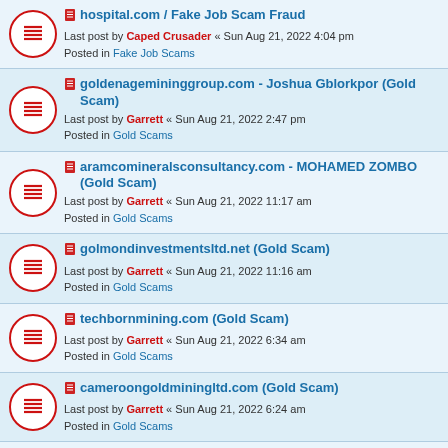hospital.com / Fake Job Scam Fraud — Last post by Caped Crusader « Sun Aug 21, 2022 4:04 pm — Posted in Fake Job Scams
goldenagemininggroup.com - Joshua Gblorkpor (Gold Scam) — Last post by Garrett « Sun Aug 21, 2022 2:47 pm — Posted in Gold Scams
aramcomineralsconsultancy.com - MOHAMED ZOMBO (Gold Scam) — Last post by Garrett « Sun Aug 21, 2022 11:17 am — Posted in Gold Scams
golmondinvestmentsltd.net (Gold Scam) — Last post by Garrett « Sun Aug 21, 2022 11:16 am — Posted in Gold Scams
techbornmining.com (Gold Scam) — Last post by Garrett « Sun Aug 21, 2022 6:34 am — Posted in Gold Scams
cameroongoldminingltd.com (Gold Scam) — Last post by Garrett « Sun Aug 21, 2022 6:24 am — Posted in Gold Scams
goldsaleafrica.com - timothyssegujja@gmail.com (Gold Scam) — Last post by Garrett « Sun Aug 21, 2022 5:42 am — Posted in Gold Scams
Scammers Impersonating MENA OIL-GAS EXPLORATION & ENGINEERING UAE / mena-ogee.com / Fake Job Scam Fraud